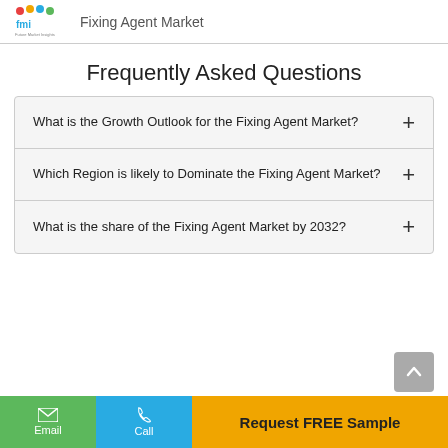Fixing Agent Market
Frequently Asked Questions
What is the Growth Outlook for the Fixing Agent Market?
Which Region is likely to Dominate the Fixing Agent Market?
What is the share of the Fixing Agent Market by 2032?
Email | Call | Request FREE Sample